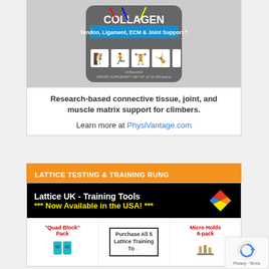[Figure (photo): Collagen supplement product bag - gray bag labeled 'Tendon, Ligament, ECM & Joint Support' with silhouettes of athletes and 'Unflavored' text at bottom]
Research-based connective tissue, joint, and muscle matrix support for climbers.
Learn more at PhysiVantage.com
LATTICE TESTING & TRAINING RUNG
[Figure (photo): Lattice UK - Training Tools advertisement showing black header banner with yellow text '*** Now Available in the USA! ***' and diamond logo, with product sections below showing Quad Block Pack, Purchase All 5 Lattice Training Tools, and Micro Holds 6-pack]
[Figure (logo): Google reCAPTCHA badge with privacy and terms text]